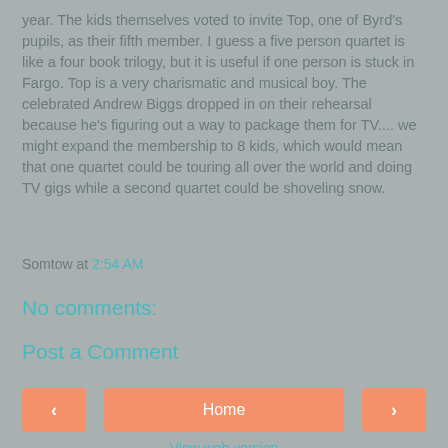year. The kids themselves voted to invite Top, one of Byrd's pupils, as their fifth member. I guess a five person quartet is like a four book trilogy, but it is useful if one person is stuck in Fargo. Top is a very charismatic and musical boy. The celebrated Andrew Biggs dropped in on their rehearsal because he's figuring out a way to package them for TV.... we might expand the membership to 8 kids, which would mean that one quartet could be touring all over the world and doing TV gigs while a second quartet could be shoveling snow.
Somtow at 2:54 AM
No comments:
Post a Comment
‹  Home  ›
View web version